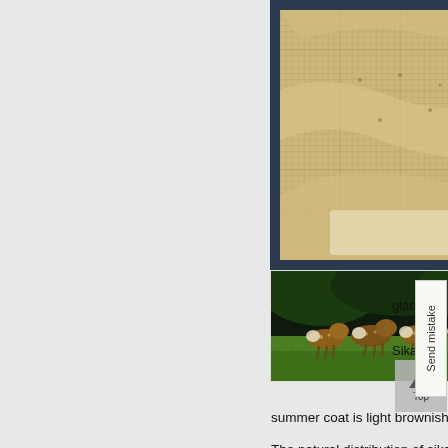[Figure (photo): Framed map or diagram with dark navy border and tan/golden cross-hatched pattern interior]
[Figure (photo): A herd of spotted sika deer standing in a green grassy field with dark forest background]
glaci
Sika
Send mistake
Top
summer coat is light brownish, w
The natural distribution of sika o many deer, prefer areas of mixe that stretches from present-day habitat and natural populations